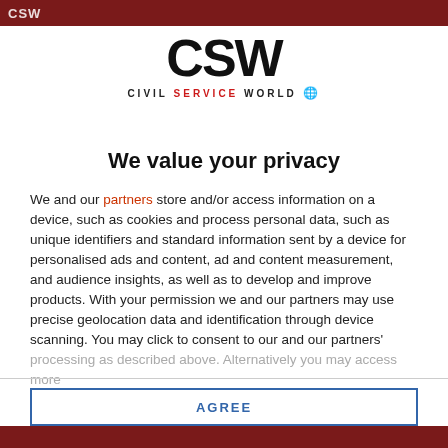CSW Civil Service World
[Figure (logo): CSW Civil Service World logo with large bold CSW text and tagline CIVIL SERVICE WORLD below]
We value your privacy
We and our partners store and/or access information on a device, such as cookies and process personal data, such as unique identifiers and standard information sent by a device for personalised ads and content, ad and content measurement, and audience insights, as well as to develop and improve products. With your permission we and our partners may use precise geolocation data and identification through device scanning. You may click to consent to our and our partners' processing as described above. Alternatively you may access more
AGREE
MORE OPTIONS